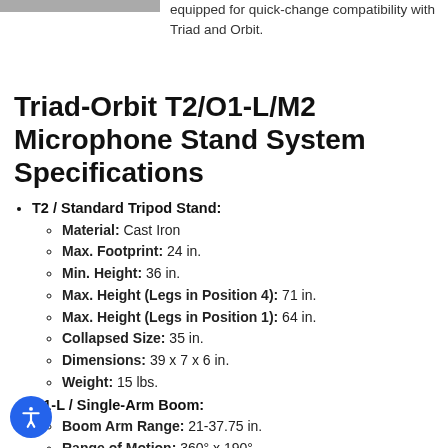equipped for quick-change compatibility with Triad and Orbit.
Triad-Orbit T2/O1-L/M2 Microphone Stand System Specifications
T2 / Standard Tripod Stand:
Material: Cast Iron
Max. Footprint: 24 in.
Min. Height: 36 in.
Max. Height (Legs in Position 4): 71 in.
Max. Height (Legs in Position 1): 64 in.
Collapsed Size: 35 in.
Dimensions: 39 x 7 x 6 in.
Weight: 15 lbs.
O1-L / Single-Arm Boom:
Boom Arm Range: 21-37.75 in.
Range of Motion: 360° x 190°
Dimensions: 32 x 8 x 4 in
Weight: 8 lbs.
M2 / Short Mic Adaptor:
Type: Short Stem Adaptor